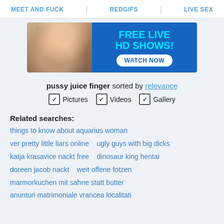MEET AND FUCK   REDGIFS   LIVE SEX
[Figure (photo): Advertisement banner: woman in lingerie on left, blue background with cyan text 'FREE LIVE HD SHOWS!' and white button 'WATCH NOW' on right]
pussy juice finger sorted by relevance
✓ Pictures  ✓ Videos  ✓ Gallery
Related searches:
things to know about aquarius woman
ver pretty little liars online   ugly guys with big dicks
katja krasavice nackt free   dinosaur king hentai
doreen jacob nackt   weit offene fotzen
marmorkuchen mit sahne statt butter
anunturi matrimoniale vrancea localitati